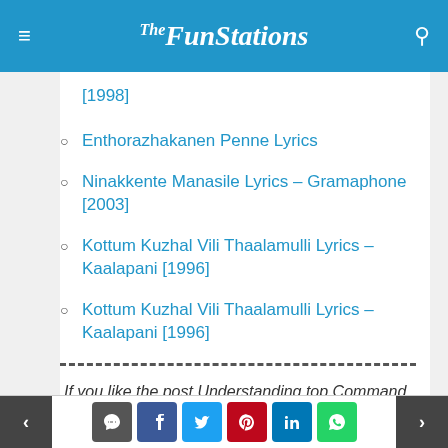TheFunStations
[1998]
Enthorazhakanen Penne Lyrics
Ninakkente Manasile Lyrics – Gramaphone [2003]
Kottum Kuzhal Vili Thaalamulli Lyrics – Kaalapani [1996]
Kottum Kuzhal Vili Thaalamulli Lyrics – Kaalapani [1996]
If you like the post Understanding top Command and wish to receive more articles from us, please like our FB page: